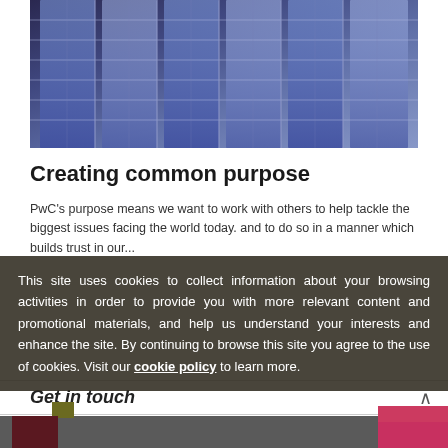[Figure (photo): Glass-and-steel modern office building facade with blue tones and vertical grid structure]
Creating common purpose
PwC's purpose means we want to work with others to help tackle the biggest issues facing the world today. and to do so in a manner which builds trust in our...
This site uses cookies to collect information about your browsing activities in order to provide you with more relevant content and promotional materials, and help us understand your interests and enhance the site. By continuing to browse this site you agree to the use of cookies. Visit our cookie policy to learn more.
Get in touch
[Figure (infographic): Footer area with dark grey background and coloured squares (dark red and pink) on left and right sides]